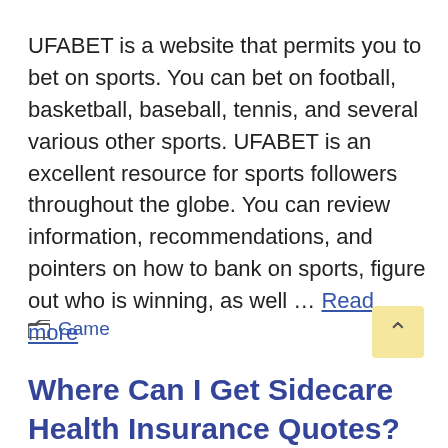UFABET is a website that permits you to bet on sports. You can bet on football, basketball, baseball, tennis, and several various other sports. UFABET is an excellent resource for sports followers throughout the globe. You can review information, recommendations, and pointers on how to bank on sports, figure out who is winning, as well … Read more
Game
Where Can I Get Sidecare Health Insurance Quotes?